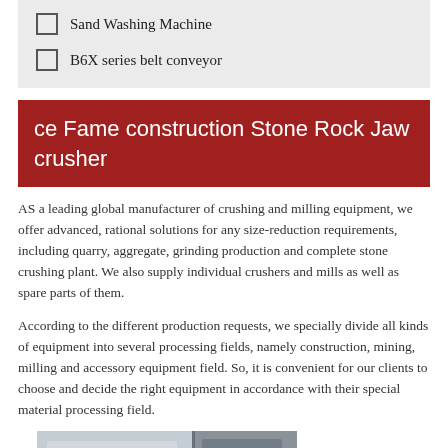Sand Washing Machine
B6X series belt conveyor
ce Fame construction Stone Rock Jaw crusher
AS a leading global manufacturer of crushing and milling equipment, we offer advanced, rational solutions for any size-reduction requirements, including quarry, aggregate, grinding production and complete stone crushing plant. We also supply individual crushers and mills as well as spare parts of them.
According to the different production requests, we specially divide all kinds of equipment into several processing fields, namely construction, mining, milling and accessory equipment field. So, it is convenient for our clients to choose and decide the right equipment in accordance with their special material processing field.
[Figure (photo): Industrial machinery photo showing jaw crusher equipment in a manufacturing facility]